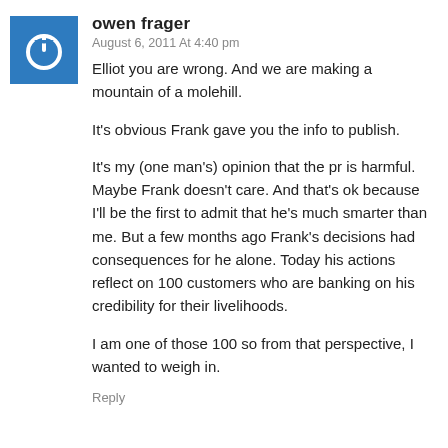owen frager
August 6, 2011 At 4:40 pm
Elliot you are wrong. And we are making a mountain of a molehill.
It's obvious Frank gave you the info to publish.
It's my (one man's) opinion that the pr is harmful. Maybe Frank doesn't care. And that's ok because I'll be the first to admit that he's much smarter than me. But a few months ago Frank's decisions had consequences for he alone. Today his actions reflect on 100 customers who are banking on his credibility for their livelihoods.
I am one of those 100 so from that perspective, I wanted to weigh in.
Reply